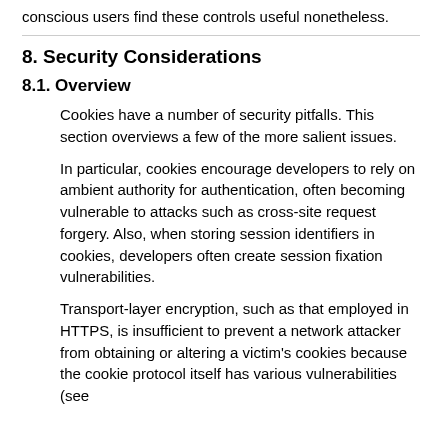conscious users find these controls useful nonetheless.
8. Security Considerations
8.1. Overview
Cookies have a number of security pitfalls. This section overviews a few of the more salient issues.
In particular, cookies encourage developers to rely on ambient authority for authentication, often becoming vulnerable to attacks such as cross-site request forgery. Also, when storing session identifiers in cookies, developers often create session fixation vulnerabilities.
Transport-layer encryption, such as that employed in HTTPS, is insufficient to prevent a network attacker from obtaining or altering a victim's cookies because the cookie protocol itself has various vulnerabilities (see